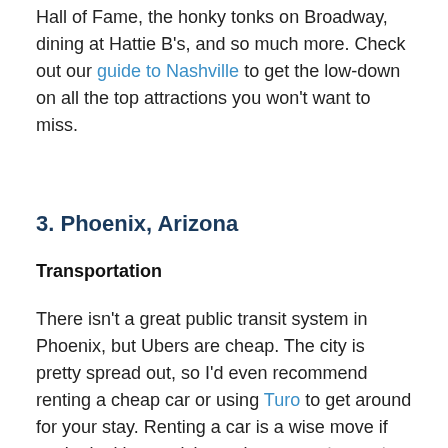Hall of Fame, the honky tonks on Broadway, dining at Hattie B's, and so much more. Check out our guide to Nashville to get the low-down on all the top attractions you won't want to miss.
3. Phoenix, Arizona
Transportation
There isn't a great public transit system in Phoenix, but Ubers are cheap. The city is pretty spread out, so I'd even recommend renting a cheap car or using Turo to get around for your stay. Renting a car is a wise move if you're looking to visit nearby mountains and doing some awesome hikes.